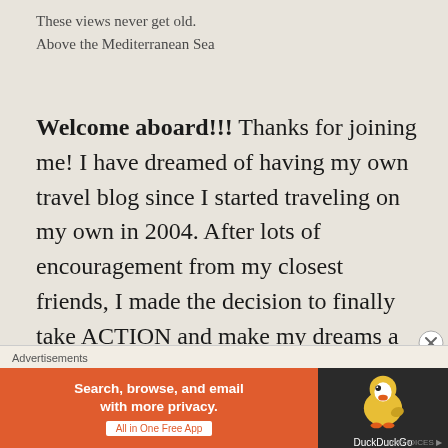These views never get old.
Above the Mediterranean Sea
Welcome aboard!!! Thanks for joining me! I have dreamed of having my own travel blog since I started traveling on my own in 2004. After lots of encouragement from my closest friends, I made the decision to finally take ACTION and make my dreams a reality. You see, my travel schedule is insane and while I absolutely love it, free time is precious! The hardest part of starting this blog wasn't the
Advertisements
[Figure (screenshot): DuckDuckGo advertisement banner: orange left section with text 'Search, browse, and email with more privacy. All in One Free App' and dark right section with DuckDuckGo duck logo]